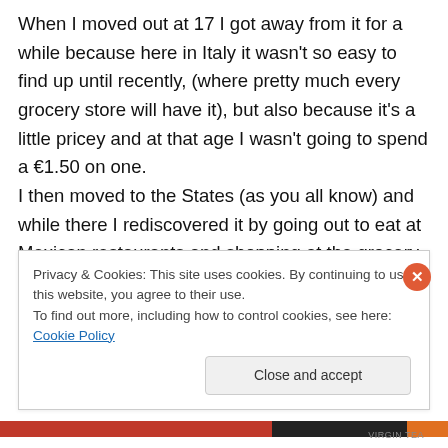When I moved out at 17 I got away from it for a while because here in Italy it wasn't so easy to find up until recently, (where pretty much every grocery store will have it), but also because it's a little pricey and at that age I wasn't going to spend a €1.50 on one. I then moved to the States (as you all know) and while there I rediscovered it by going out to eat at Mexican restaurants and shopping at the grocery stores where I found it everywhere and for great prices. Being an Italian with a vast and inquisitive palate when I lived in the United States I would only really enjoy eating
Privacy & Cookies: This site uses cookies. By continuing to use this website, you agree to their use. To find out more, including how to control cookies, see here: Cookie Policy
Close and accept